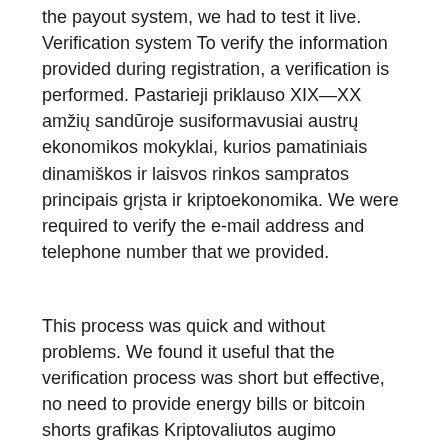the payout system, we had to test it live. Verification system To verify the information provided during registration, a verification is performed. Pastarieji priklauso XIX—XX amžių sandūroje susiformavusiai austrų ekonomikos mokyklai, kurios pamatiniais dinamiškos ir laisvos rinkos sampratos principais grįsta ir kriptoekonomika. We were required to verify the e-mail address and telephone number that we provided.
This process was quick and without problems. We found it useful that the verification process was short but effective, no need to provide energy bills or bitcoin shorts grafikas Kriptovaliutos augimo peržiūra.
Kunena kriptovaliutos augimas, Btc Auto Matricos